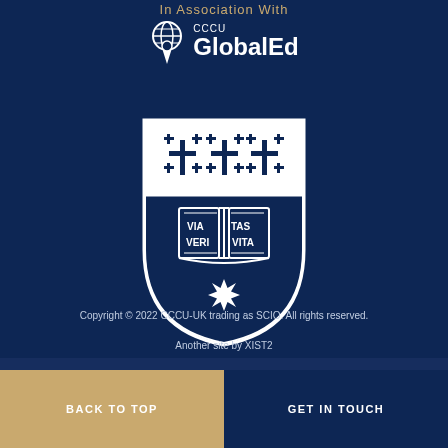In Association With
[Figure (logo): CCCU GlobalEd logo with globe and location pin icon, white text on dark blue background]
[Figure (illustration): Canterbury Christ Church University shield/crest: white shield with three Jerusalem crosses on top half, open book showing VIA VERITAS VITA text on bottom half, and an eight-pointed star below the book]
Copyright © 2022 CCCU-UK trading as SCIO. All rights reserved.
Another site by XIST2
BACK TO TOP
GET IN TOUCH